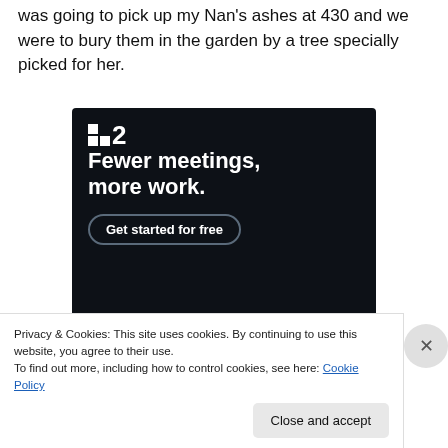With the intentions of going back later. One of my aunts was going to pick up my Nan's ashes at 430 and we were to bury them in the garden by a tree specially picked for her.
[Figure (screenshot): Advertisement for a project management tool showing a dark background with a logo (two squares and the number 2), headline 'Fewer meetings, more work.' and a 'Get started for free' button.]
Privacy & Cookies: This site uses cookies. By continuing to use this website, you agree to their use.
To find out more, including how to control cookies, see here: Cookie Policy
Close and accept